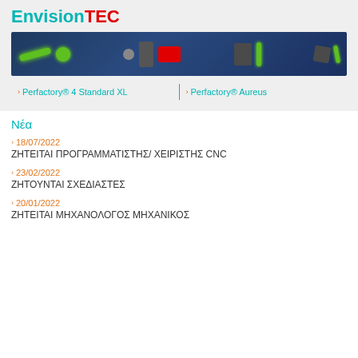EnvisionTEC
[Figure (photo): Banner image of EnvisionTEC 3D printer equipment with green laser beams on dark blue background, showing multiple industrial printer components]
Perfactory® 4 Standard XL
Perfactory® Aureus
Νέα
18/07/2022
ΖΗΤΕΙΤΑΙ ΠΡΟΓΡΑΜΜΑΤΙΣΤΗΣ/ ΧΕΙΡΙΣΤΗΣ CNC
23/02/2022
ΖΗΤΟΥΝΤΑΙ ΣΧΕΔΙΑΣΤΕΣ
20/01/2022
ΖΗΤΕΙΤΑΙ ΜΗΧΑΝΟΛΟΓΟΣ ΜΗΧΑΝΙΚΟΣ